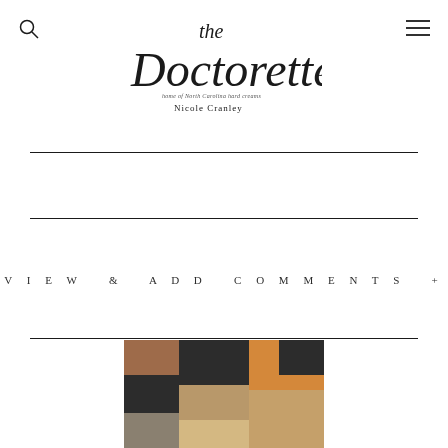[Figure (logo): The Doctorette cursive handwritten logo with tagline 'home of North Carolina hard creams - Nicole Cranley']
VIEW & ADD COMMENTS +
[Figure (photo): Abstract colorblock painting with earthy tones — browns, tans, dark charcoal, rust, and orange rectangles arranged in a grid-like pattern]